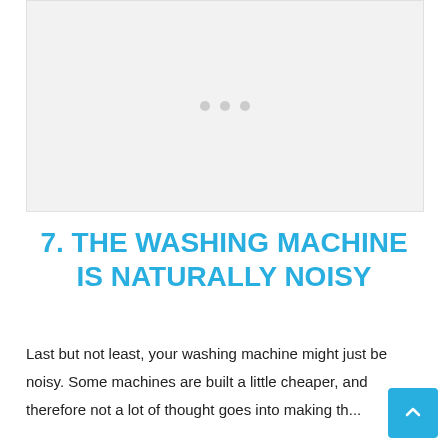[Figure (other): Placeholder image area with three grey dots in the center, light grey background]
7. THE WASHING MACHINE IS NATURALLY NOISY
Last but not least, your washing machine might just be noisy. Some machines are built a little cheaper, and therefore not a lot of thought goes into making them...